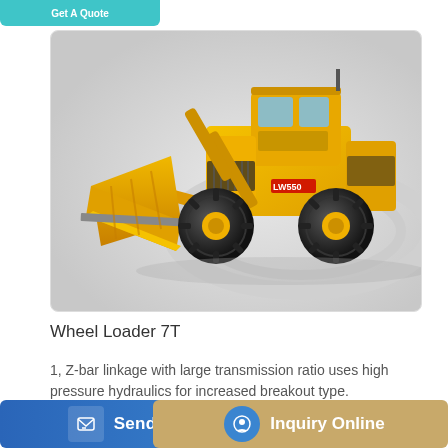[Figure (photo): Yellow wheel loader (7T) with large front bucket, shown on a light grey gradient background. The machine is a heavy construction vehicle with four large black tyres and a yellow cab.]
Wheel Loader 7T
1, Z-bar linkage with large transmission ratio uses high pressure hydraulics for increased breakout type.
Send Message | Inquiry Online